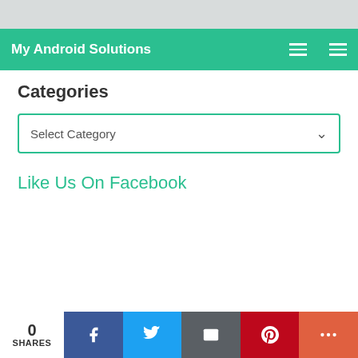My Android Solutions
Categories
Select Category
Like Us On Facebook
0 SHARES — Facebook, Twitter, Email, Pinterest, More